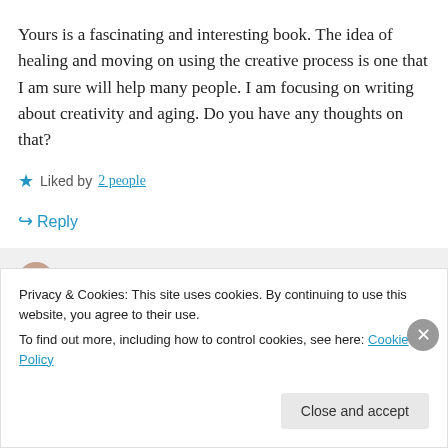Yours is a fascinating and interesting book. The idea of healing and moving on using the creative process is one that I am sure will help many people. I am focusing on writing about creativity and aging. Do you have any thoughts on that?
Liked by 2 people
Reply
Patti Clark on May 19, 2016 at 11:24 pm
Privacy & Cookies: This site uses cookies. By continuing to use this website, you agree to their use.
To find out more, including how to control cookies, see here: Cookie Policy